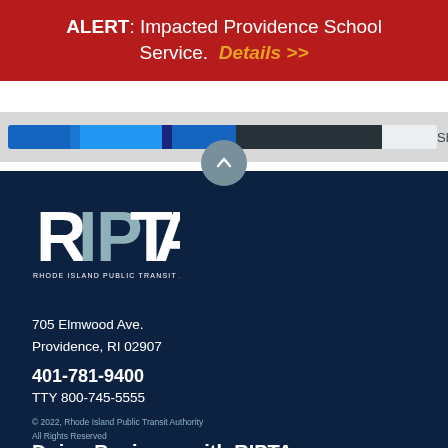ALERT: Impacted Providence School Service.  Details >>
[Figure (screenshot): Partial screenshot showing a horizontal bar graphic with blue, dark, and light segments, and the word 'Shares' on the right side]
[Figure (illustration): Circular scroll-up button with upward chevron arrow, teal/grey colored]
[Figure (logo): RIPTA logo — Rhode Island Public Transit Authority — white letters on dark navy background with stylized R I P T A lettering and tagline text below]
705 Elmwood Ave.
Providence, RI 02907
401-781-9400
TTY 800-745-5555
© 2022, Rhode Island Public Transit Authority
All Rights Reserved
Doing Business with RIPTA